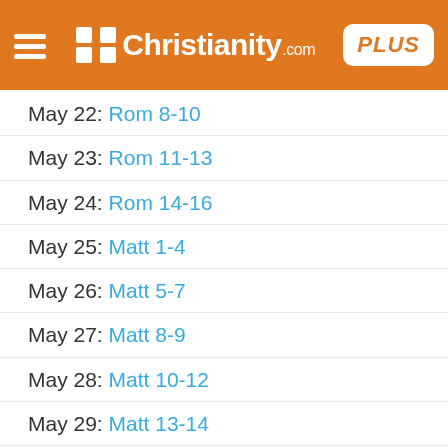Christianity.com PLUS
May 22: Rom 8-10
May 23: Rom 11-13
May 24: Rom 14-16
May 25: Matt 1-4
May 26: Matt 5-7
May 27: Matt 8-9
May 28: Matt 10-12
May 29: Matt 13-14
May 30: Matt 15-17
May 31: Matt 18-20
Jun 1: Matt 21-22
Jun 2: Matt 23-24
Jun 3: Matt 25-26